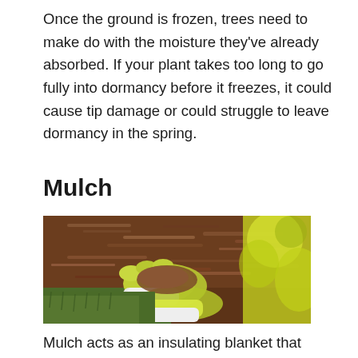Once the ground is frozen, trees need to make do with the moisture they've already absorbed. If your plant takes too long to go fully into dormancy before it freezes, it could cause tip damage or could struggle to leave dormancy in the spring.
Mulch
[Figure (photo): Gloved hands wearing yellow-green gardening gloves spreading brown mulch over green grass or moss. There is a yellow bokeh background on the right side. The photo shows mulching activity in a garden setting.]
Mulch acts as an insulating blanket that protects against